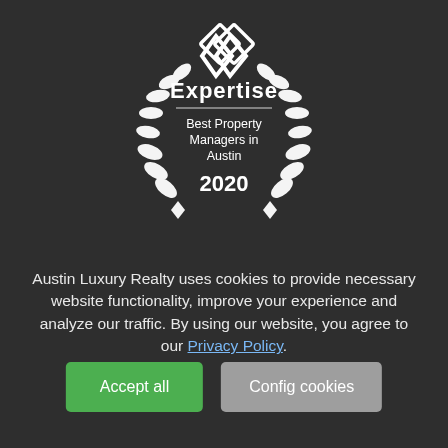[Figure (logo): Expertise award badge — white laurel wreath with interlocking diamond logo at top, text 'Expertise', horizontal rule, 'Best Property Managers in Austin', '2020', on dark background]
Austin Luxury Realty uses cookies to provide necessary website functionality, improve your experience and analyze our traffic. By using our website, you agree to our Privacy Policy.
Accept all
Config cookies